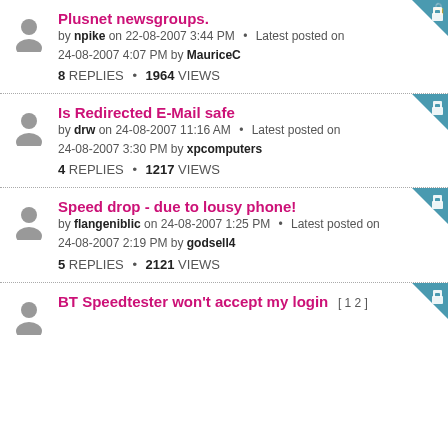Plusnet newsgroups. by npike on 22-08-2007 3:44 PM • Latest posted on 24-08-2007 4:07 PM by MauriceC 8 REPLIES • 1964 VIEWS
Is Redirected E-Mail safe by drw on 24-08-2007 11:16 AM • Latest posted on 24-08-2007 3:30 PM by xpcomputers 4 REPLIES • 1217 VIEWS
Speed drop - due to lousy phone! by flangeniblic on 24-08-2007 1:25 PM • Latest posted on 24-08-2007 2:19 PM by godsell4 5 REPLIES • 2121 VIEWS
BT Speedtester won't accept my login [ 1 2 ]